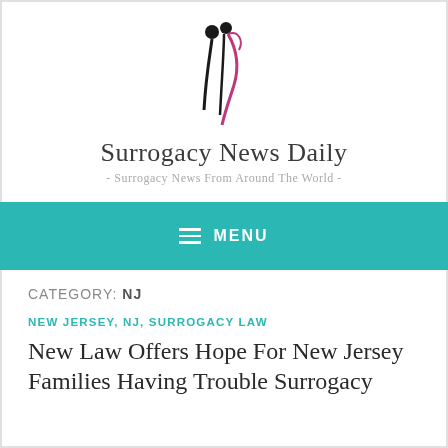[Figure (logo): Surrogacy News Daily logo: stylized figures of adults and child in black and magenta/pink lines]
Surrogacy News Daily
- Surrogacy News From Around The World -
☰ MENU
CATEGORY: NJ
NEW JERSEY, NJ, SURROGACY LAW
New Law Offers Hope For New Jersey Families Having Trouble Surrogacy...